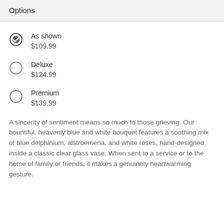Options
As shown
$109.99
Deluxe
$124.99
Premium
$139.99
A sincerity of sentiment means so much to those grieving. Our bountiful, heavenly blue and white bouquet features a soothing mix of blue delphinium, alstroemeria, and white roses, hand-designed inside a classic clear glass vase. When sent to a service or to the home of family or friends, it makes a genuinely heartwarming gesture.